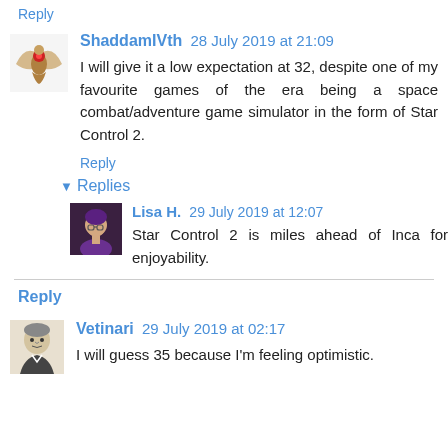Reply
ShaddamIVth 28 July 2019 at 21:09
I will give it a low expectation at 32, despite one of my favourite games of the era being a space combat/adventure game simulator in the form of Star Control 2.
Reply
▾ Replies
Lisa H. 29 July 2019 at 12:07
Star Control 2 is miles ahead of Inca for enjoyability.
Reply
Vetinari 29 July 2019 at 02:17
I will guess 35 because I'm feeling optimistic.